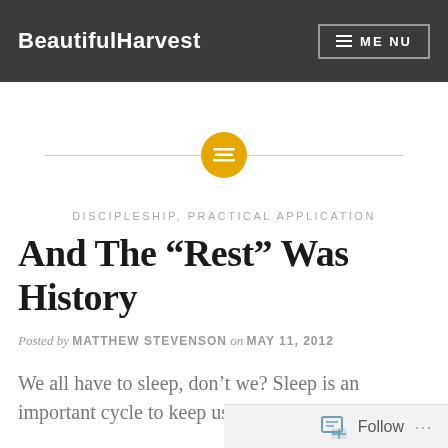BeautifulHarvest  ☰ MENU
[Figure (other): Horizontal divider line with a gold circle icon containing stacked lines in the center]
DISCIPLESHIP, PRACTICAL APPLICATION
And The “Rest” Was History
Posted by MATTHEW STEVENSON on MAY 11, 2012
We all have to sleep, don’t we? Sleep is an important cycle to keep us going. I read an
Follow  …